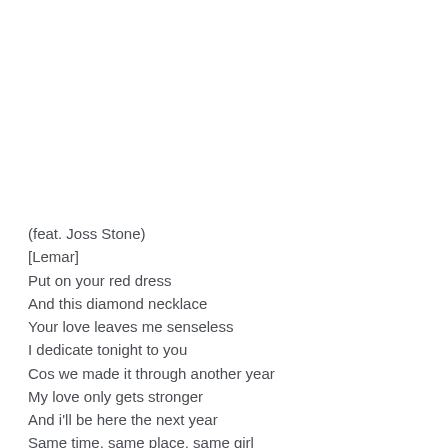(feat. Joss Stone)
[Lemar]
Put on your red dress
And this diamond necklace
Your love leaves me senseless
I dedicate tonight to you
Cos we made it through another year
My love only gets stronger
And i'll be here the next year
Same time, same place, same girl
They say after the honeymoon, the passion's almost gone
But i feel as thought our love
Has only just begun